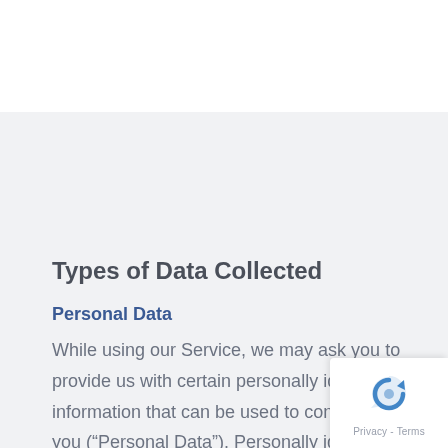Types of Data Collected
Personal Data
While using our Service, we may ask you to provide us with certain personally identifiable information that can be used to contact or identify you (“Personal Data”). Personally identifiable information
[Figure (logo): Google reCAPTCHA badge with Privacy and Terms text]